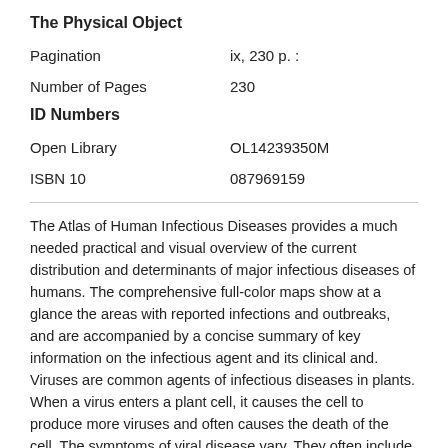The Physical Object
| Pagination | ix, 230 p. : |
| Number of Pages | 230 |
ID Numbers
| Open Library | OL14239350M |
| ISBN 10 | 087969159 |
The Atlas of Human Infectious Diseases provides a much needed practical and visual overview of the current distribution and determinants of major infectious diseases of humans. The comprehensive full-color maps show at a glance the areas with reported infections and outbreaks, and are accompanied by a concise summary of key information on the infectious agent and its clinical and. Viruses are common agents of infectious diseases in plants. When a virus enters a plant cell, it causes the cell to produce more viruses and often causes the death of the cell. The symptoms of viral disease vary. They often include leaf mottling or changes in leaf color, malformation of stems and leaves, dead spots, or stunted growth.
Available for Download